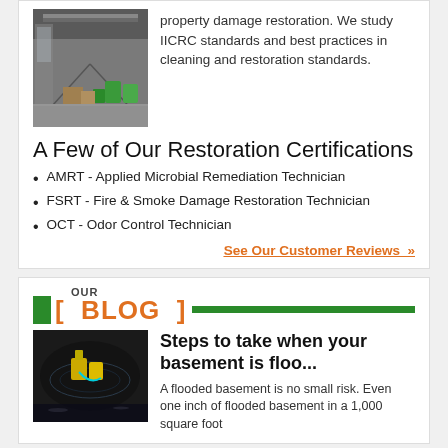[Figure (photo): Interior of a building undergoing water damage restoration, showing equipment and green drying machines on the floor.]
property damage restoration. We study IICRC standards and best practices in cleaning and restoration standards.
A Few of Our Restoration Certifications
AMRT - Applied Microbial Remediation Technician
FSRT - Fire & Smoke Damage Restoration Technician
OCT - Odor Control Technician
See Our Customer Reviews »
OUR BLOG
[Figure (photo): Aerial view of a flooded dark area with yellow machinery/equipment visible from above.]
Steps to take when your basement is floo...
A flooded basement is no small risk. Even one inch of flooded basement in a 1,000 square foot